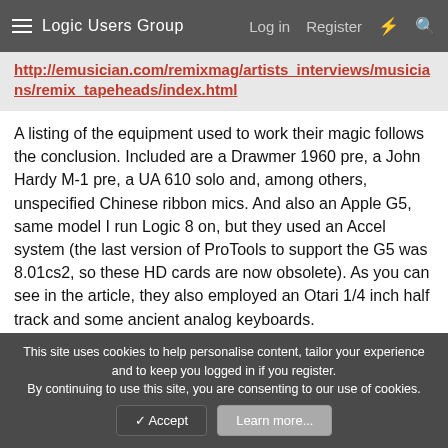Logic Users Group  Log in  Register
http://emusician.com/remixmag/artists_interviews/musicians/remix_tapeheads/index.html
A listing of the equipment used to work their magic follows the conclusion. Included are a Drawmer 1960 pre, a John Hardy M-1 pre, a UA 610 solo and, among others, unspecified Chinese ribbon mics. And also an Apple G5, same model I run Logic 8 on, but they used an Accel system (the last version of ProTools to support the G5 was 8.01cs2, so these HD cards are now obsolete). As you can see in the article, they also employed an Otari 1/4 inch half track and some ancient analog keyboards.
You must log in or register to reply here.
This site uses cookies to help personalise content, tailor your experience and to keep you logged in if you register.
By continuing to use this site, you are consenting to our use of cookies.
Accept  Learn more...